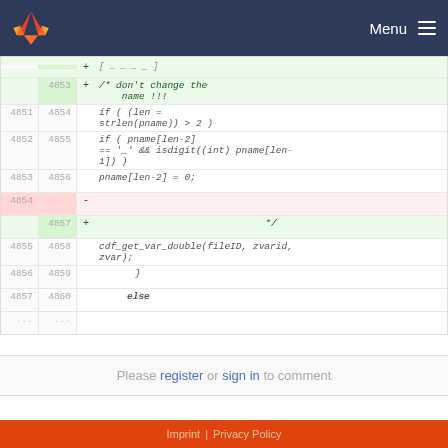[Figure (screenshot): GitLab navigation bar with fox logo and Menu button on dark blue background]
Code diff showing lines 4851-4860 with additions and deletions in a C file. Line 4853 added: /* don't change the name !!! Line 4851/4854: if ( (len = strlen(pname)) > 2 ) Line 4852/4855: if ( pname[len-2] == '_' && isdigit((int) pname[len-1]) ) Line 4853/4856: pname[len-2] = 0; Line 4854 removed (blank), Line 4857 added: */ Line 4855/4858: cdf_get_var_double(fileID, zvarid, zvar); Line 4856/4859: } Line 4857/4860: else ...
Please register or sign in to comment
Imprint | Privacy Policy